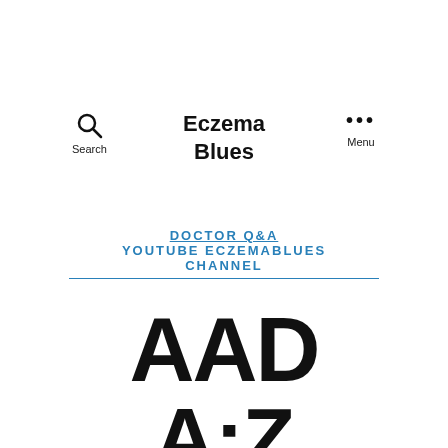[Figure (screenshot): Website navigation bar for 'Eczema Blues' with a search icon on the left, the bold site title in the center, and a three-dot menu icon on the right]
DOCTOR Q&A
YOUTUBE ECZEMABLUES CHANNEL
AAD A:Z Videos